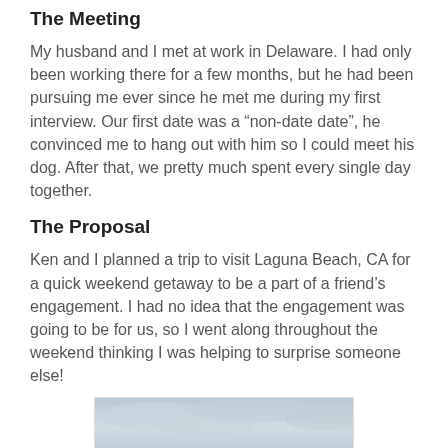The Meeting
My husband and I met at work in Delaware. I had only been working there for a few months, but he had been pursuing me ever since he met me during my first interview. Our first date was a “non-date date”, he convinced me to hang out with him so I could meet his dog. After that, we pretty much spent every single day together.
The Proposal
Ken and I planned a trip to visit Laguna Beach, CA for a quick weekend getaway to be a part of a friend’s engagement. I had no idea that the engagement was going to be for us, so I went along throughout the weekend thinking I was helping to surprise someone else!
[Figure (photo): Outdoor photo showing a cloudy sky and landscape, partially visible at the bottom of the page]